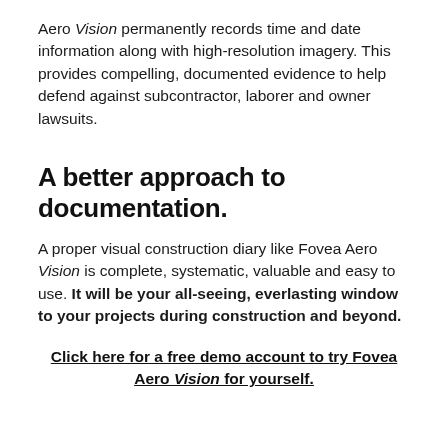Aero Vision permanently records time and date information along with high-resolution imagery. This provides compelling, documented evidence to help defend against subcontractor, laborer and owner lawsuits.
A better approach to documentation.
A proper visual construction diary like Fovea Aero Vision is complete, systematic, valuable and easy to use. It will be your all-seeing, everlasting window to your projects during construction and beyond.
Click here for a free demo account to try Fovea Aero Vision for yourself.